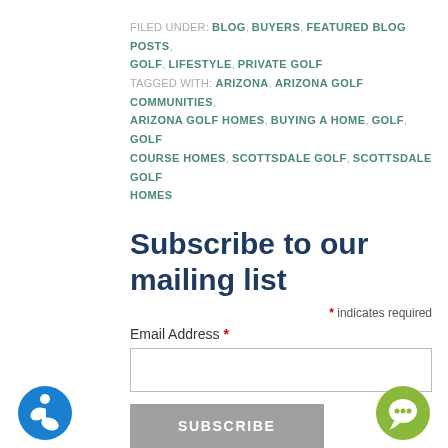FILED UNDER: BLOG, BUYERS, FEATURED BLOG POSTS, GOLF, LIFESTYLE, PRIVATE GOLF
TAGGED WITH: ARIZONA, ARIZONA GOLF COMMUNITIES, ARIZONA GOLF HOMES, BUYING A HOME, GOLF, GOLF COURSE HOMES, SCOTTSDALE GOLF, SCOTTSDALE GOLF HOMES
Subscribe to our mailing list
* indicates required
Email Address *